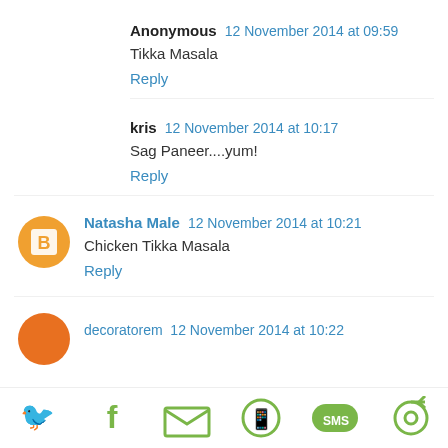Anonymous  12 November 2014 at 09:59
Tikka Masala
Reply
kris  12 November 2014 at 10:17
Sag Paneer....yum!
Reply
[Figure (illustration): Orange blogger avatar circle icon]
Natasha Male  12 November 2014 at 10:21
Chicken Tikka Masala
Reply
[Figure (illustration): Partial orange avatar circle for next comment]
decoratorem  12 November 2014 at 10:22
[Figure (infographic): Social share bar with Twitter, Facebook, Email, WhatsApp, SMS, and another share icon in olive/green]